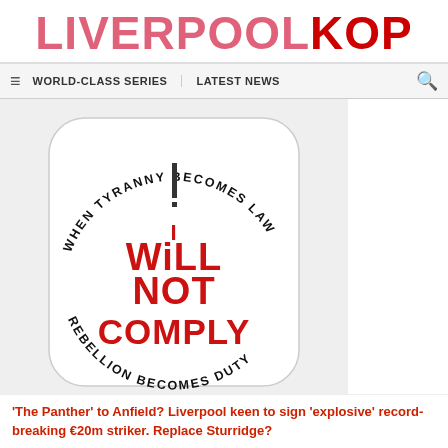LIVERPOOLKOP
WORLD-CLASS SERIES | LATEST NEWS
[Figure (illustration): A circular badge/sticker design with the text 'WHEN TYRANNY BECOMES LAW' arched along the top, 'REBELLION BECOMES DUTY' arched along the bottom, and 'I WILL NOT COMPLY' in large bold red distressed letters in the center, on a white background with a rounded border.]
'The Panther' to Anfield? Liverpool keen to sign 'explosive' record-breaking €20m striker. Replace Sturridge?